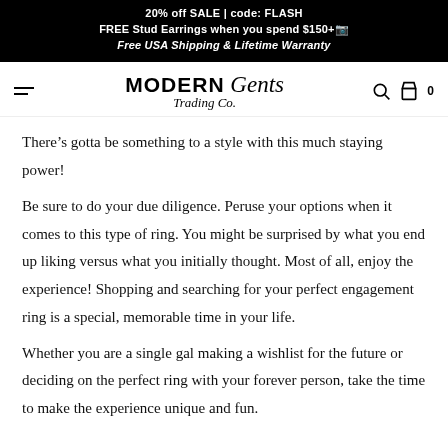20% off SALE | code: FLASH
FREE Stud Earrings when you spend $150+
Free USA Shipping & Lifetime Warranty
[Figure (logo): Modern Gents Trading Co. logo with hamburger menu, search icon, and cart icon showing 0 items]
There’s gotta be something to a style with this much staying power!
Be sure to do your due diligence. Peruse your options when it comes to this type of ring. You might be surprised by what you end up liking versus what you initially thought. Most of all, enjoy the experience! Shopping and searching for your perfect engagement ring is a special, memorable time in your life.
Whether you are a single gal making a wishlist for the future or deciding on the perfect ring with your forever person, take the time to make the experience unique and fun.